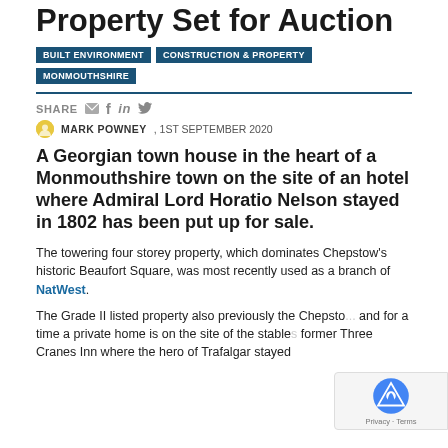Property Set for Auction
BUILT ENVIRONMENT
CONSTRUCTION & PROPERTY
MONMOUTHSHIRE
SHARE
MARK POWNEY , 1ST SEPTEMBER 2020
A Georgian town house in the heart of a Monmouthshire town on the site of an hotel where Admiral Lord Horatio Nelson stayed in 1802 has been put up for sale.
The towering four storey property, which dominates Chepstow's historic Beaufort Square, was most recently used as a branch of NatWest.
The Grade II listed property also previously the Chepsto... and for a time a private home is on the site of the stable... former Three Cranes Inn where the hero of Trafalgar stayed...